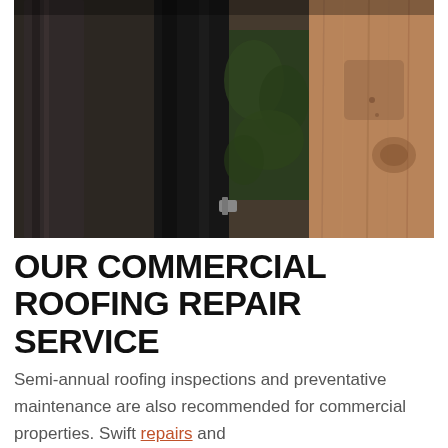[Figure (photo): Close-up photograph of wooden roofing lumber/planks and a dark metal beam or post, with green foliage visible in the background. The wood shows natural grain, knots, and weathering marks.]
OUR COMMERCIAL ROOFING REPAIR SERVICE
Semi-annual roofing inspections and preventative maintenance are also recommended for commercial properties. Swift repairs and